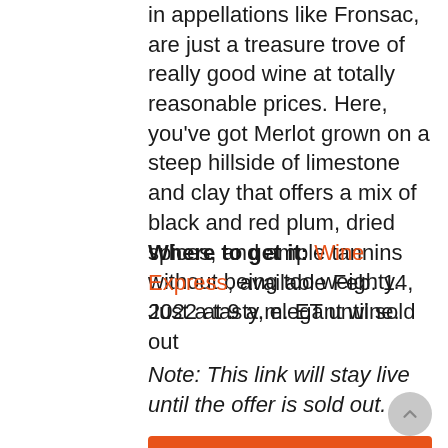in appellations like Fronsac, are just a treasure trove of really good wine at totally reasonable prices. Here, you've got Merlot grown on a steep hillside of limestone and clay that offers a mix of black and red plum, dried spices, and ample tannins without being too weighty. Just a tasty, elegant wine.
Where to get it: Wine Express, available Feb. 14, 2022 at 9 a.m. ET until sold out
Note: This link will stay live until the offer is sold out.